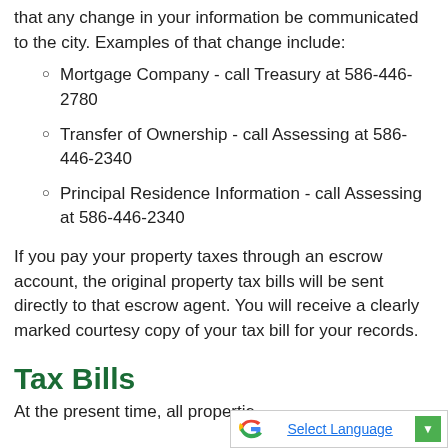that any change in your information be communicated to the city. Examples of that change include:
Mortgage Company - call Treasury at 586-446-2780
Transfer of Ownership - call Assessing at 586-446-2340
Principal Residence Information - call Assessing at 586-446-2340
If you pay your property taxes through an escrow account, the original property tax bills will be sent directly to that escrow agent. You will receive a clearly marked courtesy copy of your tax bill for your records.
Tax Bills
At the present time, all propertie